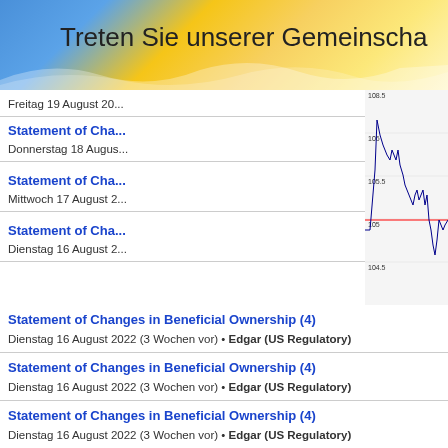Treten Sie unserer Gemeinscha
Freitag 19 August 20...
Statement of Cha... — Donnerstag 18 Augus...
Statement of Cha... — Mittwoch 17 August 2...
Statement of Cha... — Dienstag 16 August 2...
[Figure (continuous-plot): Stock price intraday chart showing price movement between approximately 104.5 and 108.5, with Pre-market and AH (after-hours) regions labeled. X-axis shows times 1100, 1400, 1700, 2000, 2300. Red horizontal line near 105. Source: (c) www.advfn.com]
Statement of Changes in Beneficial Ownership (4) — Dienstag 16 August 2022 (3 Wochen vor) • Edgar (US Regulatory)
Statement of Changes in Beneficial Ownership (4) — Dienstag 16 August 2022 (3 Wochen vor) • Edgar (US Regulatory)
Statement of Changes in Beneficial Ownership (4) — Dienstag 16 August 2022 (3 Wochen vor) • Edgar (US Regulatory)
Statement of Changes in Beneficial Ownership (4) — Dienstag 16 August 2022 (3 Wochen vor) • Edgar (US Regulatory)